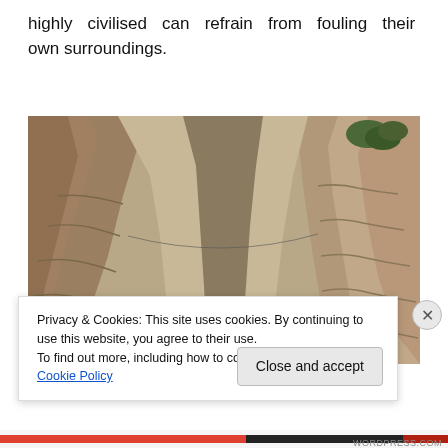highly civilised can refrain from fouling their own surroundings.
[Figure (photo): A deep rocky canyon or gorge with steep limestone cliff walls and sparse green vegetation visible between the narrow rock faces.]
Privacy & Cookies: This site uses cookies. By continuing to use this website, you agree to their use.
To find out more, including how to control cookies, see here: Cookie Policy
Close and accept